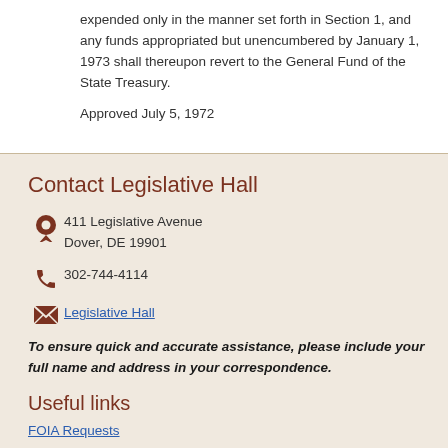expended only in the manner set forth in Section 1, and any funds appropriated but unencumbered by January 1, 1973 shall thereupon revert to the General Fund of the State Treasury.
Approved July 5, 1972
Contact Legislative Hall
411 Legislative Avenue
Dover, DE 19901
302-744-4114
Legislative Hall
To ensure quick and accurate assistance, please include your full name and address in your correspondence.
Useful links
FOIA Requests